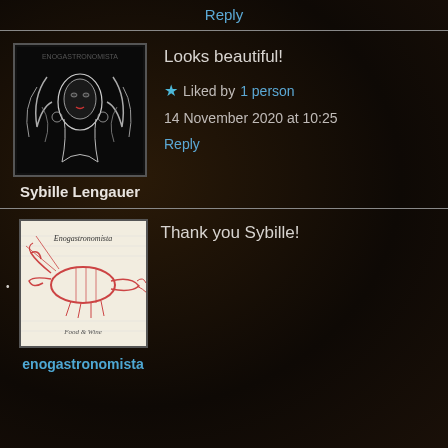Reply
[Figure (photo): Black and white illustration avatar of a woman with flowing hair and decorative elements]
Looks beautiful!
Sybille Lengauer
★ Liked by 1 person
14 November 2020 at 10:25
Reply
[Figure (photo): Enogastronomista blog avatar showing a lobster illustration with text Enogastronomista and Food & Wine]
Thank you Sybille!
enogastronomista